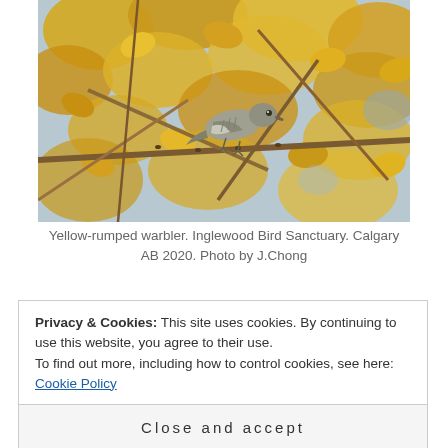[Figure (photo): Yellow-rumped warbler perched on a branch surrounded by golden/yellow autumn leaves and tree branches.]
Yellow-rumped warbler. Inglewood Bird Sanctuary. Calgary AB 2020. Photo by J.Chong
Privacy & Cookies: This site uses cookies. By continuing to use this website, you agree to their use.
To find out more, including how to control cookies, see here: Cookie Policy
Close and accept